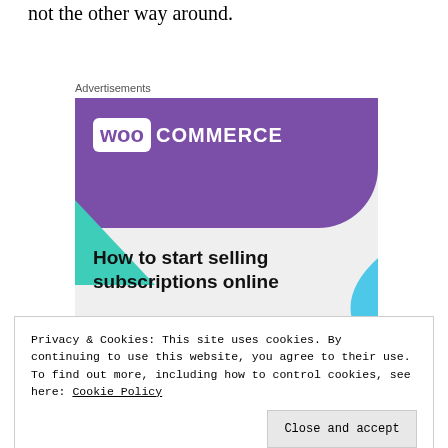not the other way around.
Advertisements
[Figure (illustration): WooCommerce advertisement banner showing the WooCommerce logo on a purple background with teal and blue geometric shapes, headline reading 'How to start selling subscriptions online' and a purple button.]
Privacy & Cookies: This site uses cookies. By continuing to use this website, you agree to their use.
To find out more, including how to control cookies, see here: Cookie Policy
yourself. After the conversations, I had prepared